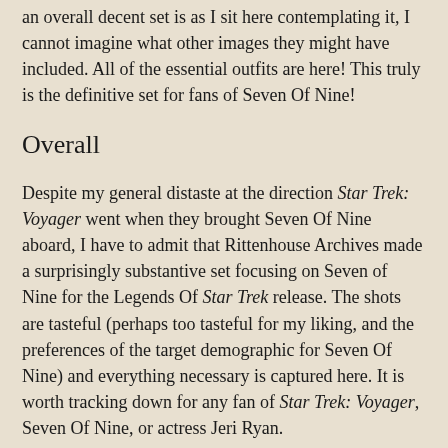an overall decent set is as I sit here contemplating it, I cannot imagine what other images they might have included. All of the essential outfits are here! This truly is the definitive set for fans of Seven Of Nine!
Overall
Despite my general distaste at the direction Star Trek: Voyager went when they brought Seven Of Nine aboard, I have to admit that Rittenhouse Archives made a surprisingly substantive set focusing on Seven of Nine for the Legends Of Star Trek release. The shots are tasteful (perhaps too tasteful for my liking, and the preferences of the target demographic for Seven Of Nine) and everything necessary is captured here. It is worth tracking down for any fan of Star Trek: Voyager, Seven Of Nine, or actress Jeri Ryan.
One suspects in the future, the Legends Of Star Trek sets will be sold in the secondary market almost exclusively as entire series collections, but fans who love Seven Of Nine will likely be unable to find this set in the future, as they are already being gobbled up!